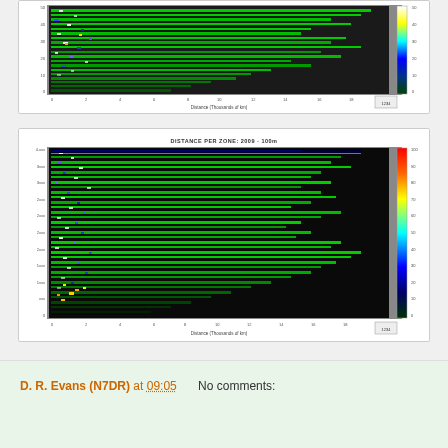[Figure (continuous-plot): Radar distance per zone heatmap (upper panel), colorized scatter plot showing signal distribution vs distance in thousands of km, with color bar on right ranging from green to white/yellow representing intensity levels]
[Figure (continuous-plot): DISTANCE PER ZONE: 2009-100m radar heatmap (lower panel), colorized scatter plot showing signal distribution vs distance in thousands of km, with color bar on right ranging from green to red at top, blue at bottom, representing intensity or count levels]
D. R. Evans (N7DR) at 09:05    No comments: